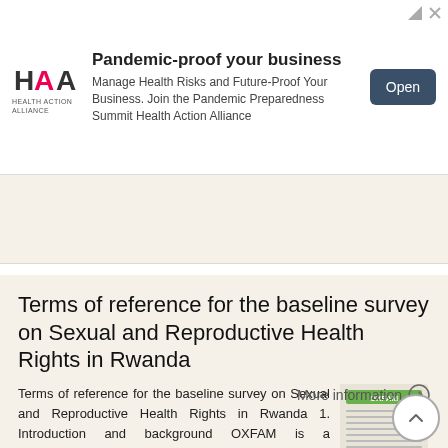[Figure (infographic): Advertisement banner for Health Action Alliance: 'Pandemic-proof your business. Manage Health Risks and Future-Proof Your Business. Join the Pandemic Preparedness Summit Health Action Alliance' with Open button.]
en and men and their differential access
More information →
Terms of reference for the baseline survey on Sexual and Reproductive Health Rights in Rwanda
Terms of reference for the baseline survey on Sexual and Reproductive Health Rights in Rwanda 1. Introduction and background OXFAM is a development, humanitarian and campaigning international confederation
More information →